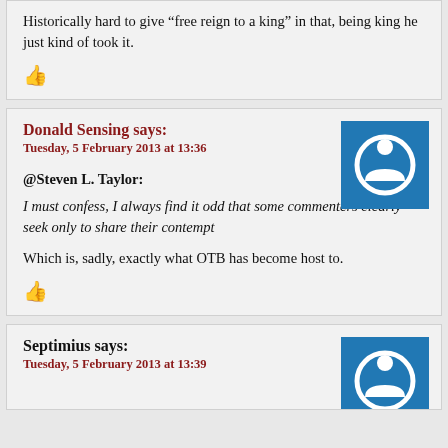Historically hard to give “free reign to a king” in that, being king he just kind of took it.
👍
Donald Sensing says:
Tuesday, 5 February 2013 at 13:36
@Steven L. Taylor:
I must confess, I always find it odd that some commenters clearly seek only to share their contempt
Which is, sadly, exactly what OTB has become host to.
👍
Septimius says:
Tuesday, 5 February 2013 at 13:39